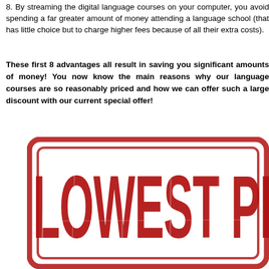8. By streaming the digital language courses on your computer, you avoid spending a far greater amount of money attending a language school (that has little choice but to charge higher fees because of all their extra costs).
These first 8 advantages all result in saving you significant amounts of money! You now know the main reasons why our language courses are so reasonably priced and how we can offer such a large discount with our current special offer!
[Figure (illustration): A red distressed rubber stamp graphic showing the text 'LOWEST PR' (partially cropped) in bold capital letters, with a rectangular double-border frame, giving a promotional lowest price stamp appearance.]